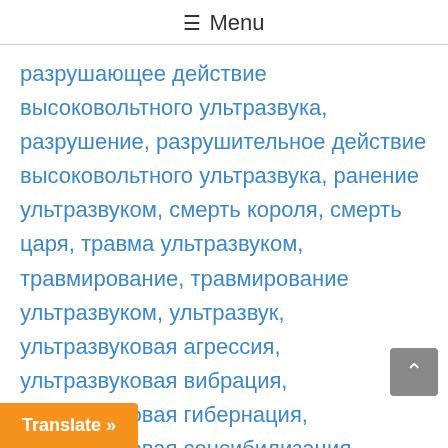≡ Menu
разрушающее действие высоковольтного ультразвука, разрушение, разрушительное действие высоковольтного ультразвука, ранение ультразвуком, смерть короля, смерть царя, травма ультразвуком, травмирование, травмирование ультразвуком, ультразвук, ультразвуковая агрессия, ультразвуковая вибрация, ультразвуковая гибернация, ультразвуковая сенсибилизация, ультразвуковое давление, ультразвуковой допинг, цари, царская